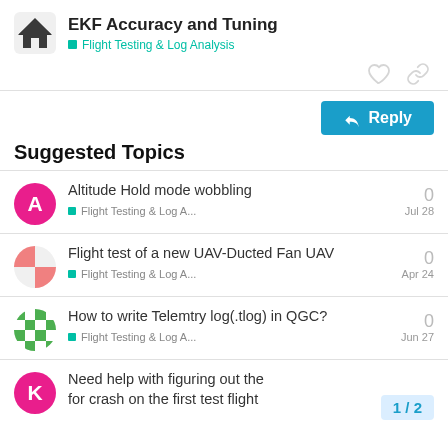EKF Accuracy and Tuning — Flight Testing & Log Analysis
Suggested Topics
Altitude Hold mode wobbling — Flight Testing & Log A... — Jul 28 — 0 replies
Flight test of a new UAV-Ducted Fan UAV — Flight Testing & Log A... — Apr 24 — 0 replies
How to write Telemtry log(.tlog) in QGC? — Flight Testing & Log A... — Jun 27 — 0 replies
Need help with figuring out the for crash on the first test flight — 1 / 2